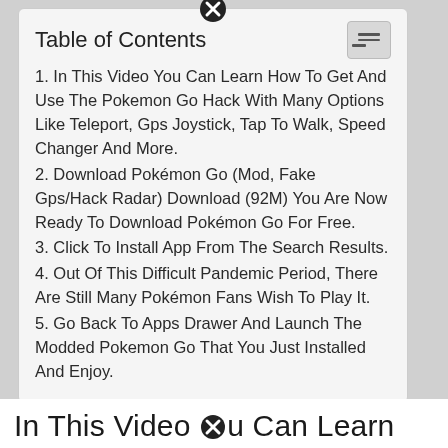Table of Contents
1. In This Video You Can Learn How To Get And Use The Pokemon Go Hack With Many Options Like Teleport, Gps Joystick, Tap To Walk, Speed Changer And More.
2. Download Pokémon Go (Mod, Fake Gps/Hack Radar) Download (92M) You Are Now Ready To Download Pokémon Go For Free.
3. Click To Install App From The Search Results.
4. Out Of This Difficult Pandemic Period, There Are Still Many Pokémon Fans Wish To Play It.
5. Go Back To Apps Drawer And Launch The Modded Pokemon Go That You Just Installed And Enjoy.
In This Video You Can Learn